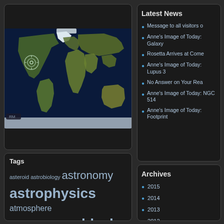[Figure (map): World map satellite view with a location marker/target circle over North America (western US). Dark blue ocean background with green/brown continental landmasses. RM logo in lower left.]
Latest News
Message to all visitors o
Anne's Image of Today: Galaxy
Rosetta Arrives at Come
Anne's Image of Today: Lupus 3
No Answer on Your Rea
Anne's Image of Today: NGC 514
Anne's Image of Today: Footprint
Tags
asteroid astrobiology astronomy astrophysics atmosphere barred spiral galaxy black hole comet cosmology dark matter Earth Earthli… emission nebula
Archives
2015
2014
2013
2012